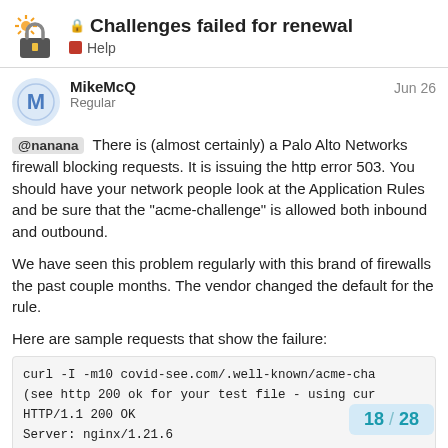🔒 Challenges failed for renewal
Help
MikeMcQ
Regular
Jun 26
@nanana There is (almost certainly) a Palo Alto Networks firewall blocking requests. It is issuing the http error 503. You should have your network people look at the Application Rules and be sure that the "acme-challenge" is allowed both inbound and outbound.
We have seen this problem regularly with this brand of firewalls the past couple months. The vendor changed the default for the rule.
Here are sample requests that show the failure:
curl -I -m10 covid-see.com/.well-known/acme-cha
(see http 200 ok for your test file - using cur
HTTP/1.1 200 OK
Server: nginx/1.21.6